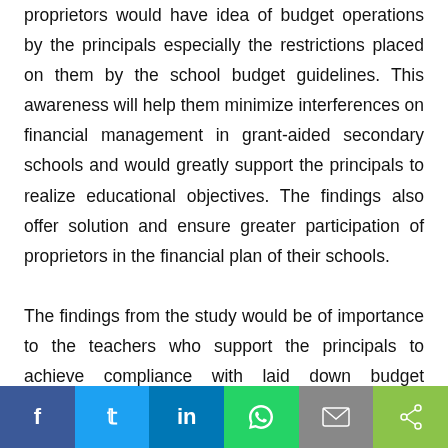proprietors would have idea of budget operations by the principals especially the restrictions placed on them by the school budget guidelines. This awareness will help them minimize interferences on financial management in grant-aided secondary schools and would greatly support the principals to realize educational objectives. The findings also offer solution and ensure greater participation of proprietors in the financial plan of their schools.

The findings from the study would be of importance to the teachers who support the principals to achieve compliance with laid down budget guidelines in grant-aided secondary schools. When their needs are met they will collaborate in a
[Figure (other): Social sharing bar with buttons for Facebook, Twitter, LinkedIn, WhatsApp, Email, and Share]